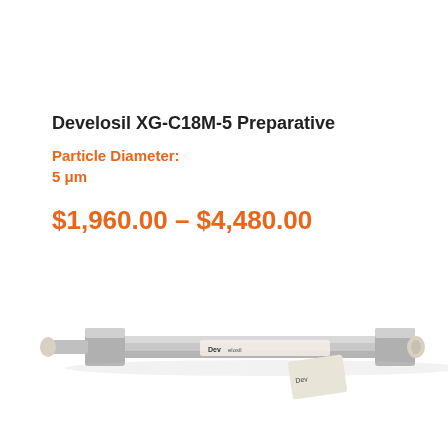Develosil XG-C18M-5 Preparative
Particle Diameter:
5 μm
$1,960.00 – $4,480.00
[Figure (photo): Photo of a stainless steel HPLC preparative column (Develosil brand) shown at an angle, with hexagonal fittings at both ends and a label visible on the column body.]